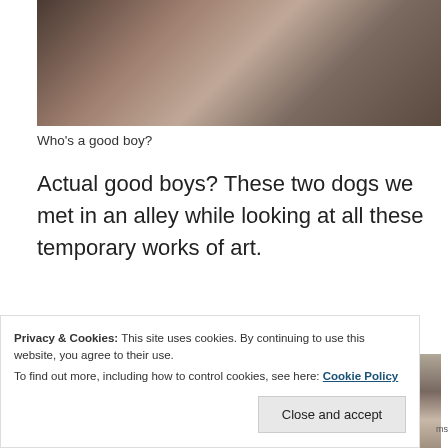[Figure (photo): Close-up photo of a person in a plaid jacket, partially cropped, appears to be a dog or person being petted]
Who's a good boy?
Actual good boys? These two dogs we met in an alley while looking at all these temporary works of art.
[Figure (photo): Narrow stone alley with people walking in the distance, old stone walls on either side, a wooden door on the right]
Privacy & Cookies: This site uses cookies. By continuing to use this website, you agree to their use.
To find out more, including how to control cookies, see here: Cookie Policy
Close and accept